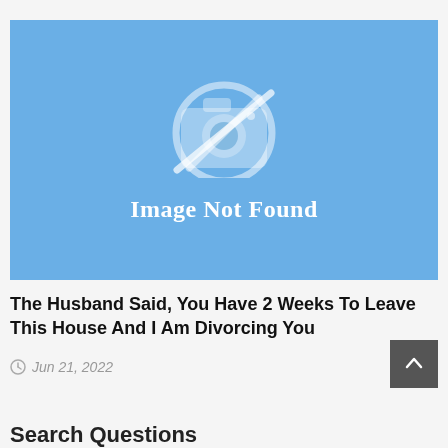[Figure (other): Image not found placeholder with a camera icon crossed out on a blue background with text 'Image Not Found']
The Husband Said, You Have 2 Weeks To Leave This House And I Am Divorcing You
Jun 21, 2022
Search Questions